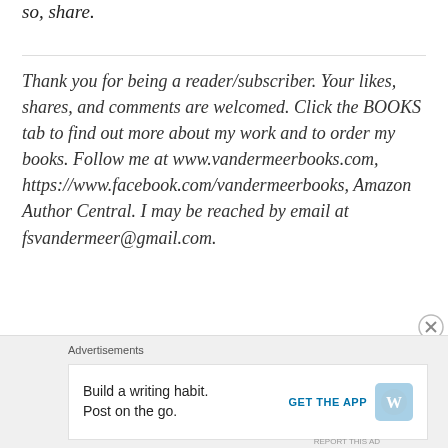so, share.
Thank you for being a reader/subscriber. Your likes, shares, and comments are welcomed. Click the BOOKS tab to find out more about my work and to order my books. Follow me at www.vandermeerbooks.com, https://www.facebook.com/vandermeerbooks, Amazon Author Central. I may be reached by email at fsvandermeer@gmail.com.
Advertisements
Build a writing habit. Post on the go.
GET THE APP